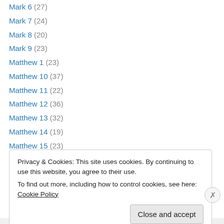Mark 6 (27)
Mark 7 (24)
Mark 8 (20)
Mark 9 (23)
Matthew 1 (23)
Matthew 10 (37)
Matthew 11 (22)
Matthew 12 (36)
Matthew 13 (32)
Matthew 14 (19)
Matthew 15 (23)
Matthew 16 (16)
Matthew 17 (18)
Privacy & Cookies: This site uses cookies. By continuing to use this website, you agree to their use. To find out more, including how to control cookies, see here: Cookie Policy
Close and accept